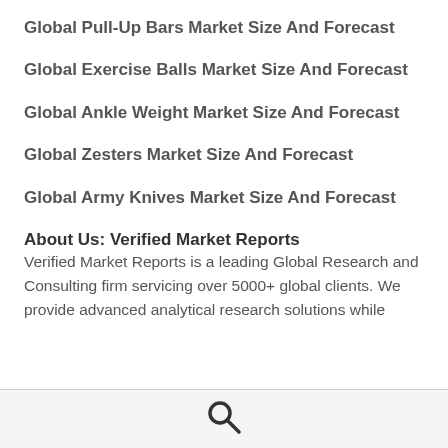Global Pull-Up Bars Market Size And Forecast
Global Exercise Balls Market Size And Forecast
Global Ankle Weight Market Size And Forecast
Global Zesters Market Size And Forecast
Global Army Knives Market Size And Forecast
About Us: Verified Market Reports
Verified Market Reports is a leading Global Research and Consulting firm servicing over 5000+ global clients. We provide advanced analytical research solutions while
[Figure (other): Search icon (magnifying glass) in footer bar]